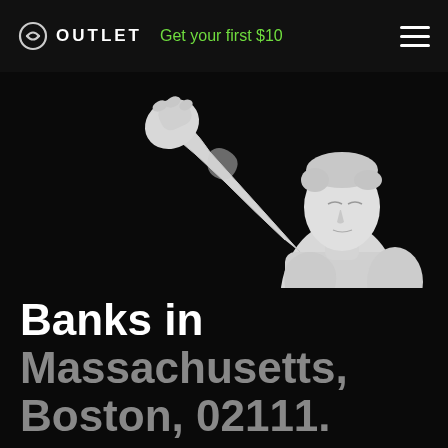OUTLET  Get your first $10
[Figure (illustration): White marble classical Greek/Roman statue of a male figure with arm raised, holding something aloft, shown against a black background. The statue is a white sculpted figure with curly hair, muscular torso, and an outstretched raised arm.]
Banks in Massachusetts, Boston, 02111.